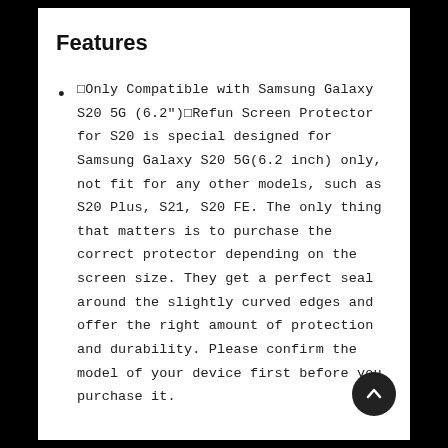Features
□Only Compatible with Samsung Galaxy S20 5G (6.2")□Refun Screen Protector for S20 is special designed for Samsung Galaxy S20 5G(6.2 inch) only, not fit for any other models, such as S20 Plus, S21, S20 FE. The only thing that matters is to purchase the correct protector depending on the screen size. They get a perfect seal around the slightly curved edges and offer the right amount of protection and durability. Please confirm the model of your device first before you purchase it.